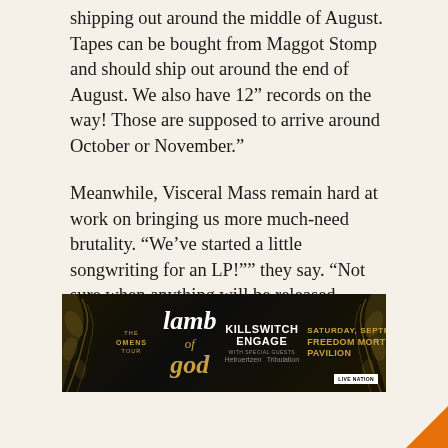shipping out around the middle of August. Tapes can be bought from Maggot Stomp and should ship out around the end of August. We also have 12" records on the way! Those are supposed to arrive around October or November."
Meanwhile, Visceral Mass remain hard at work on bringing us more much-need brutality. "We've started a little songwriting for an LP!"" they say. "Not sure when anything will be released, though. It'll be ready when it's ready."
And so will we.
[Figure (other): Advertisement banner for Lamb of God 'The Omens Tour' featuring Killswitch Engage, Saturday September 10 at Freedom Mortgage Pavilion, Live Nation]